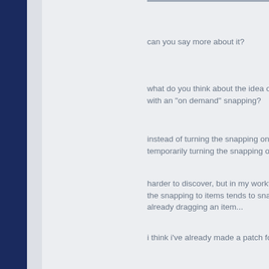can you say more about it?
what do you think about the idea of with an "on demand" snapping?
instead of turning the snapping on a temporarily turning the snapping on.
harder to discover, but in my workflo the snapping to items tends to snap already dragging an item...
i think i've already made a patch for
Quote
improve the right click drag copy to
as you might have read in the bug tr ... i'm still looking for somebody expl
in my eyes it is hard to discover, aw alternatives...